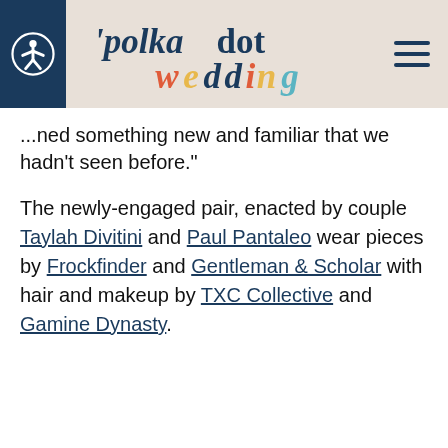polkadot wedding [logo with navigation]
...ned something new and familiar that we hadn't seen before."
The newly-engaged pair, enacted by couple Taylah Divitini and Paul Pantaleo wear pieces by Frockfinder and Gentleman & Scholar with hair and makeup by TXC Collective and Gamine Dynasty.